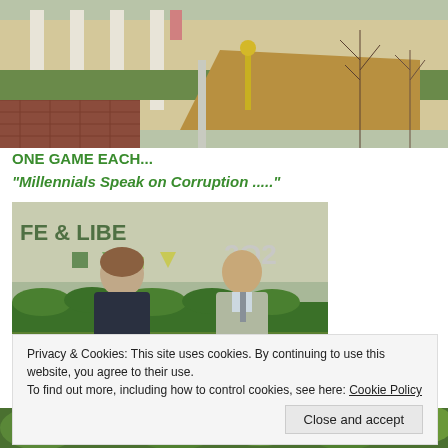[Figure (photo): Outdoor courtyard scene with columns, brick pathway, bare trees, wooden ramp structure, and grassy area near a building.]
ONE GAME EACH...
“Millennials Speak on Corruption .....”
[Figure (photo): Two men in suits having an interview outdoors near a wall with colorful murals reading 'FE & LIBE' and '2O2', with green hedges and vegetation.]
Privacy & Cookies: This site uses cookies. By continuing to use this website, you agree to their use. To find out more, including how to control cookies, see here: Cookie Policy
[Figure (photo): Bottom strip of a photo showing trees with green foliage.]